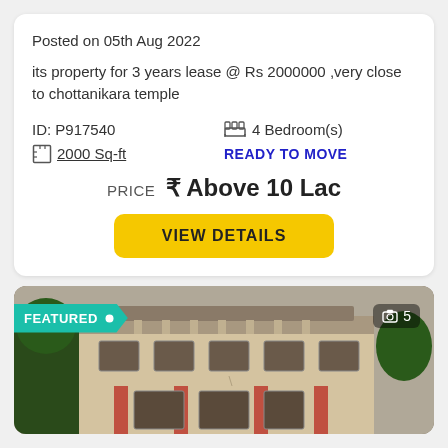Posted on 05th Aug 2022
its property for 3 years lease @ Rs 2000000 ,very close to chottanikara temple
ID: P917540
4 Bedroom(s)
2000 Sq-ft
READY TO MOVE
PRICE ₹ Above 10 Lac
VIEW DETAILS
[Figure (photo): Exterior photo of a two-storey house with beige/cream walls, tiled roof, columns, and trees. Has a FEATURED badge and photo count of 5.]